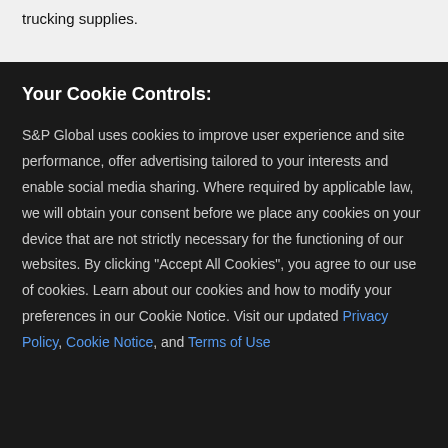trucking supplies.
Your Cookie Controls:
S&P Global uses cookies to improve user experience and site performance, offer advertising tailored to your interests and enable social media sharing. Where required by applicable law, we will obtain your consent before we place any cookies on your device that are not strictly necessary for the functioning of our websites. By clicking "Accept All Cookies", you agree to our use of cookies. Learn about our cookies and how to modify your preferences in our Cookie Notice. Visit our updated Privacy Policy, Cookie Notice, and Terms of Use